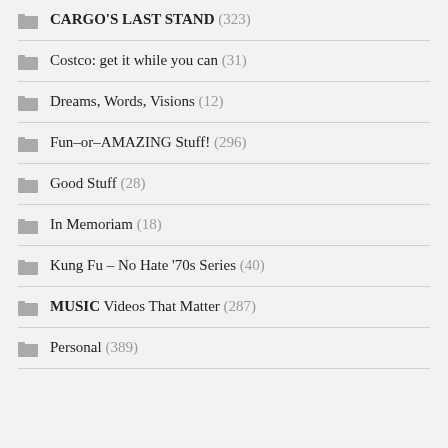CARGO'S LAST STAND (323)
Costco: get it while you can (31)
Dreams, Words, Visions (12)
Fun–or–AMAZING Stuff! (296)
Good Stuff (28)
In Memoriam (18)
Kung Fu – No Hate '70s Series (40)
MUSIC Videos That Matter (287)
Personal (389)